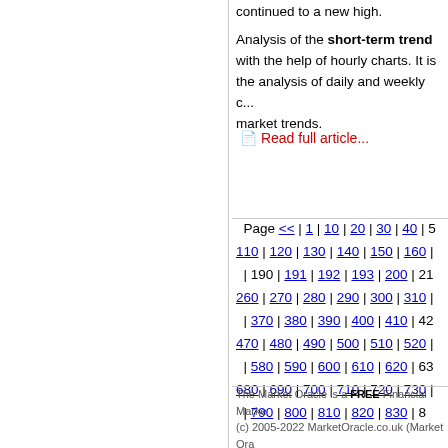continued to a new high.
Analysis of the short-term trend with the help of hourly charts. It is the analysis of daily and weekly c... market trends.
Read full article...
Page << | 1 | 10 | 20 | 30 | 40 | 5 110 | 120 | 130 | 140 | 150 | 160 | | 190 | 191 | 192 | 193 | 200 | 21 260 | 270 | 280 | 290 | 300 | 310 | | 370 | 380 | 390 | 400 | 410 | 42 470 | 480 | 490 | 500 | 510 | 520 | | 580 | 590 | 600 | 610 | 620 | 63 680 | 690 | 700 | 710 | 720 | 730 | | 790 | 800 | 810 | 820 | 830 | 8
The Market Oracle is a FREE Financial Marke (c) 2005-2022 MarketOracle.co.uk (Market Ora copyright on all articles authored by our editorial and all information provided within the web-s purposes only and Market Oracle Ltd do not w suitability of any information provided on this sit constitute, financial or any other advice or reco